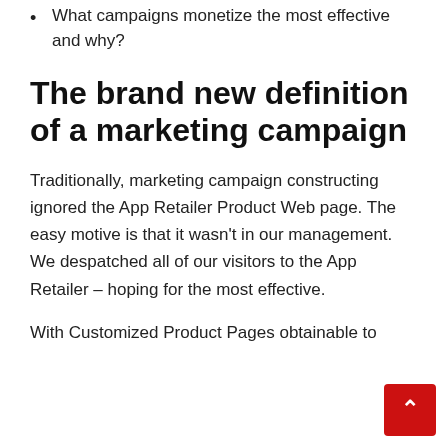What campaigns monetize the most effective and why?
The brand new definition of a marketing campaign
Traditionally, marketing campaign constructing ignored the App Retailer Product Web page. The easy motive is that it wasn't in our management. We despatched all of our visitors to the App Retailer – hoping for the most effective.
With Customized Product Pages obtainable to